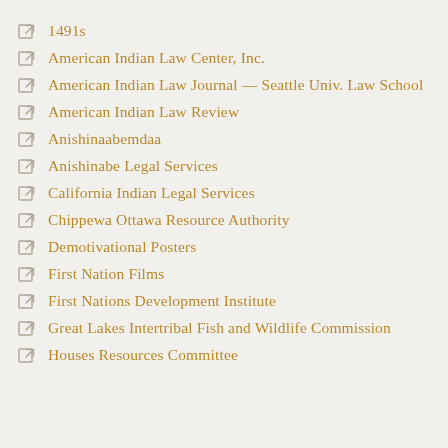1491s
American Indian Law Center, Inc.
American Indian Law Journal — Seattle Univ. Law School
American Indian Law Review
Anishinaabemdaa
Anishinabe Legal Services
California Indian Legal Services
Chippewa Ottawa Resource Authority
Demotivational Posters
First Nation Films
First Nations Development Institute
Great Lakes Intertribal Fish and Wildlife Commission
Houses Resources Committee